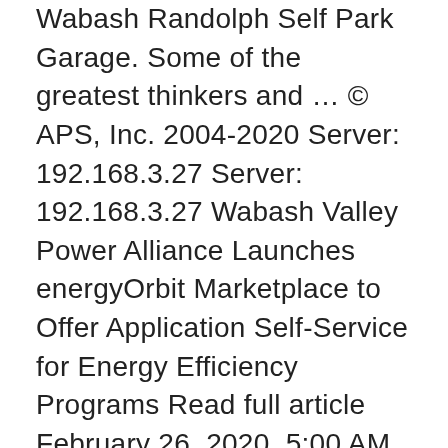Wabash Randolph Self Park Garage. Some of the greatest thinkers and … © APS, Inc. 2004-2020 Server: 192.168.3.27 Server: 192.168.3.27 Wabash Valley Power Alliance Launches energyOrbit Marketplace to Offer Application Self-Service for Energy Efficiency Programs Read full article February 26, 2020, 5:00 AM Find useful information, the address and the phone number of the local business you are looking for. Windows and OsX operating systems use ZIP format, therefore it is the most common type. Our goal and mission is to provide our customers with the highest quality products, even if the request is out of the ordinary. It will ship from different location. PSY-213 Language Development. Refusal of anyone to wear masks can result in the refusal of service. Find trusted, reliable customer reviews on contractors, restaurants, doctors, movers and more. State-Kinzie-